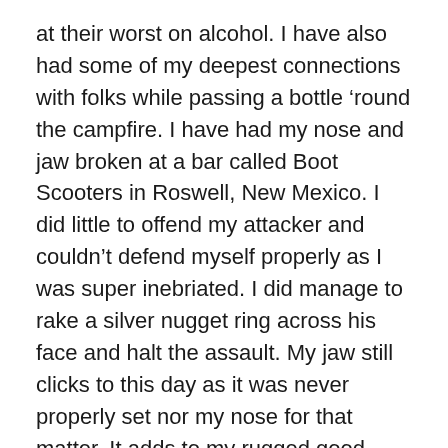at their worst on alcohol. I have also had some of my deepest connections with folks while passing a bottle 'round the campfire. I have had my nose and jaw broken at a bar called Boot Scooters in Roswell, New Mexico. I did little to offend my attacker and couldn't defend myself properly as I was super inebriated. I did manage to rake a silver nugget ring across his face and halt the assault. My jaw still clicks to this day as it was never properly set nor my nose for that matter. It adds to my rugged good looks.
“If bad times with alcohol outweigh the good times then it is time to consider quitting,” I’ve always said. Well, the good times kept rolling while outpacing any negative effects. Negative effects include being jailed while away at college and being arrested for DWI in my late 20’s. That was over 15 years ago. I have had many great times at beer festivals, tailgates, parties and bars since then.